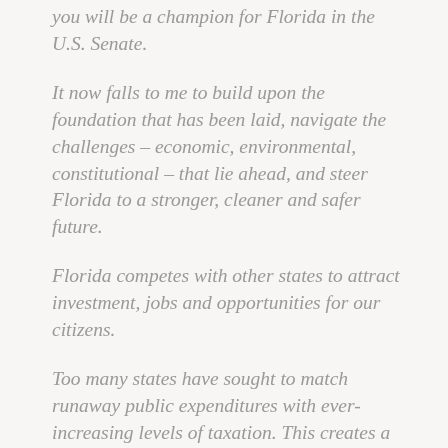you will be a champion for Florida in the U.S. Senate.
It now falls to me to build upon the foundation that has been laid, navigate the challenges – economic, environmental, constitutional – that lie ahead, and steer Florida to a stronger, cleaner and safer future.
Florida competes with other states to attract investment, jobs and opportunities for our citizens.
Too many states have sought to match runaway public expenditures with ever-increasing levels of taxation. This creates a vicious cycle that leads productive citizens to flee, repels investment and leaves their people